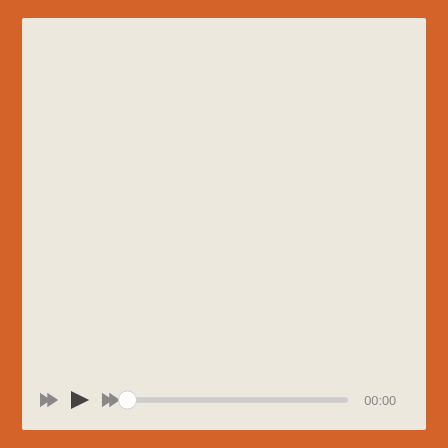[Figure (screenshot): A media player interface with an orange border/background, a large beige/cream content area, and a playback control bar at the bottom. The control bar contains rewind, play, and fast-forward buttons, a seekbar with a circular handle at the leftmost position, and a time display showing 00:00.]